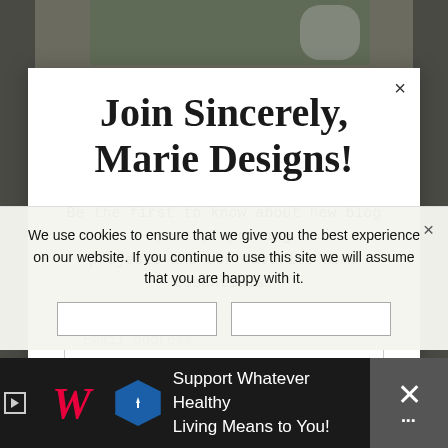[Figure (photo): Background photo of a table setting with greenery and a glass, visible behind the modal overlay]
Join Sincerely, Marie Designs!
Be the first to know about new blog posts, upcoming projects and our favorite home essentials!
Email address
We use cookies to ensure that we give you the best experience on our website. If you continue to use this site we will assume that you are happy with it.
[Figure (logo): Walgreens W logo advertisement: Support Whatever Healthy Living Means to You!]